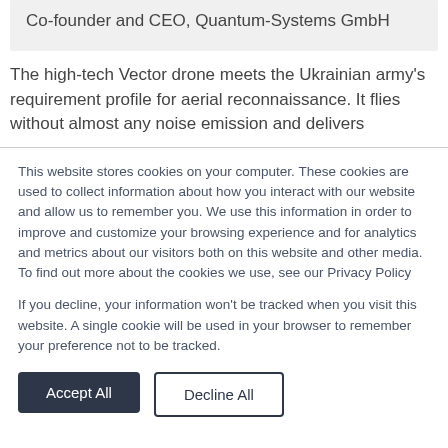Co-founder and CEO, Quantum-Systems GmbH
The high-tech Vector drone meets the Ukrainian army's requirement profile for aerial reconnaissance. It flies without almost any noise emission and delivers
This website stores cookies on your computer. These cookies are used to collect information about how you interact with our website and allow us to remember you. We use this information in order to improve and customize your browsing experience and for analytics and metrics about our visitors both on this website and other media. To find out more about the cookies we use, see our Privacy Policy
If you decline, your information won't be tracked when you visit this website. A single cookie will be used in your browser to remember your preference not to be tracked.
Accept All
Decline All